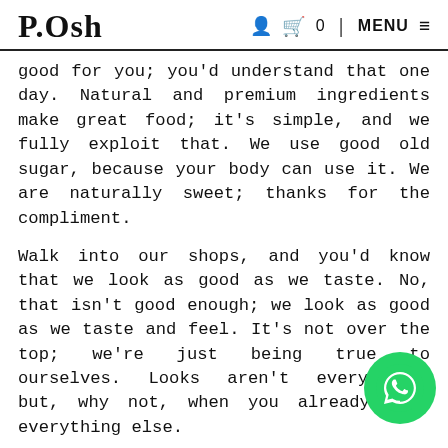P.Osh  🧑  🛒 0  |  MENU ≡
good for you; you'd understand that one day. Natural and premium ingredients make great food; it's simple, and we fully exploit that. We use good old sugar, because your body can use it. We are naturally sweet; thanks for the compliment.
Walk into our shops, and you'd know that we look as good as we taste. No, that isn't good enough; we look as good as we taste and feel. It's not over the top; we're just being true to ourselves. Looks aren't everything, but, why not, when you already have everything else.
There's only one thing we serve at our shops—goodness, packed in many different ways. So, indulge in what you want; we'll take care of what you need. Don't be surprised to know: We've been thinking about you, long before you knew about